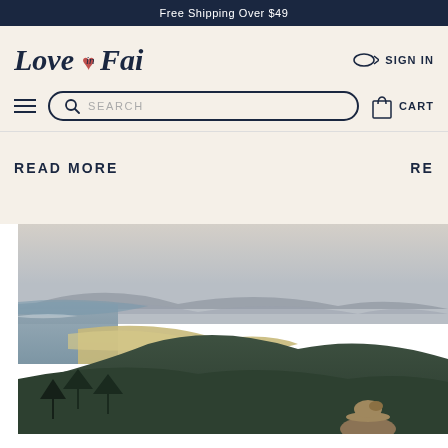Free Shipping Over $49
[Figure (logo): Love in Faith logo with heart icon and italic serif text]
SIGN IN
SEARCH
CART
READ MORE
RE
[Figure (photo): Aerial coastal landscape photo with ocean, sandy beach, forested hills, mountains in background, and a person with a hat viewed from behind in the foreground bottom right.]